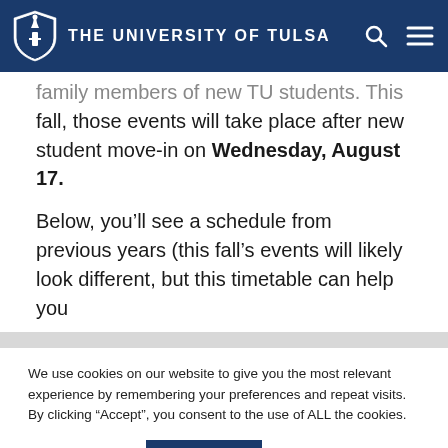THE UNIVERSITY OF TULSA
...family members of new TU students. This fall, those events will take place after new student move-in on Wednesday, August 17.
Below, you'll see a schedule from previous years (this fall's events will likely look different, but this timetable can help you
We use cookies on our website to give you the most relevant experience by remembering your preferences and repeat visits. By clicking "Accept", you consent to the use of ALL the cookies.
Cookie settings | ACCEPT